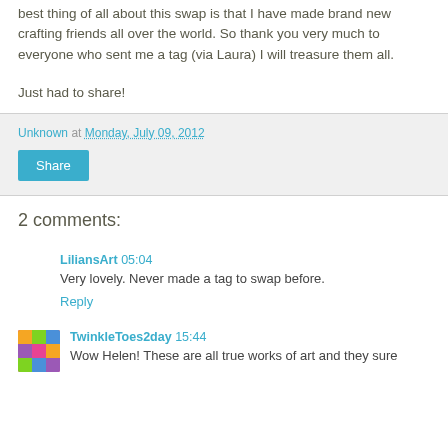best thing of all about this swap is that I have made brand new crafting friends all over the world.  So thank you very much to everyone who sent me a tag (via Laura) I will treasure them all.
Just had to share!
Unknown at Monday, July 09, 2012
Share
2 comments:
LiliansArt 05:04
Very lovely. Never made a tag to swap before.
Reply
TwinkleToes2day 15:44
Wow Helen! These are all true works of art and they sure